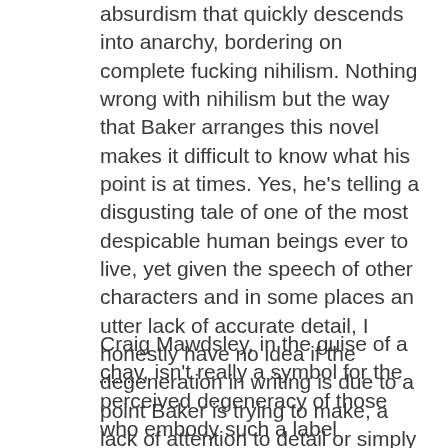absurdism that quickly descends into anarchy, bordering on complete fucking nihilism. Nothing wrong with nihilism but the way that Baker arranges this novel makes it difficult to know what his point is at times. Yes, he's telling a disgusting tale of one of the most despicable human beings ever to live, yet given the speech of other characters and in some places an utter lack of accurate detail, I honestly have no idea if the degeneration in writing is due to a point Baker is trying to make, a lack of attention to detail or simply fatigue and oversight on Baker's part.
Craig Mawdsley, in the guise of a chav, isn't really a symbol for the perceived degeneracy of those who embody such a label because Mawdsley is beyond even the worst mankind can generate